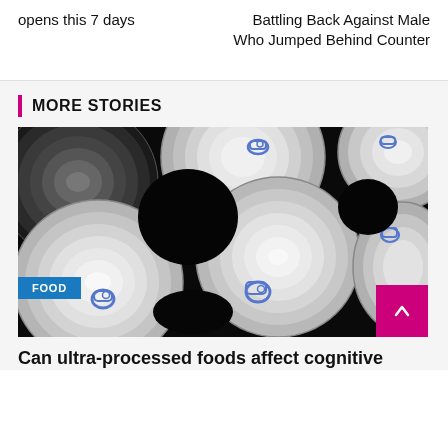opens this 7 days
Battling Back Against Male Who Jumped Behind Counter
MORE STORIES
[Figure (photo): Top-down view of multiple metallic canned goods with blue pull-tab lids arranged on a black background]
FOOD
Can ultra-processed foods affect cognitive